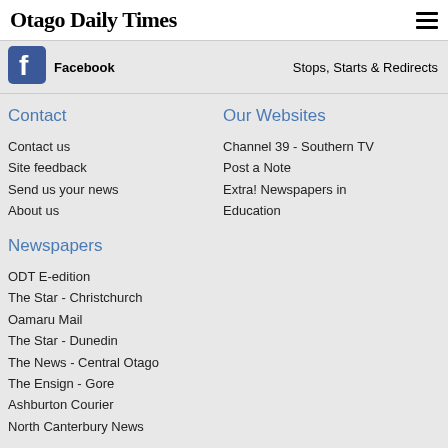Otago Daily Times
Facebook | Stops, Starts & Redirects
Contact
Our Websites
Contact us
Site feedback
Send us your news
About us
Channel 39 - Southern TV
Post a Note
Extra! Newspapers in Education
Newspapers
ODT E-edition
The Star - Christchurch
Oamaru Mail
The Star - Dunedin
The News - Central Otago
The Ensign - Gore
Ashburton Courier
North Canterbury News